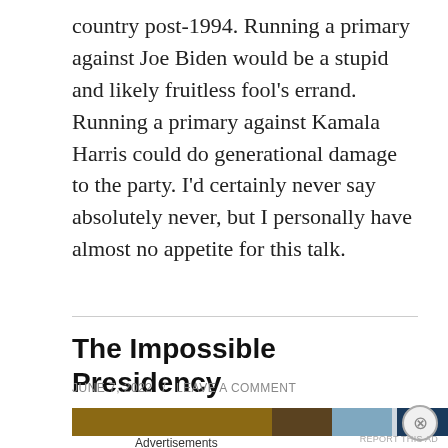country post-1994. Running a primary against Joe Biden would be a stupid and likely fruitless fool's errand. Running a primary against Kamala Harris could do generational damage to the party. I'd certainly never say absolutely never, but I personally have almost no appetite for this talk.
The Impossible Presidency
JUNE 7, 2022 / LEAVE A COMMENT
[Figure (photo): Partial view of an advertisement image bar showing a blurred photo strip]
Advertisements